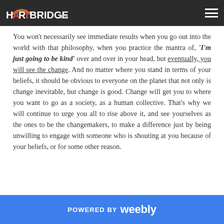HARTBRIDGE.ca
You won't necessarily see immediate results when you go out into the world with that philosophy, when you practice the mantra of, ‘I'm just going to be kind’ over and over in your head, but eventually, you will see the change. And no matter where you stand in terms of your beliefs, it should be obvious to everyone on the planet that not only is change inevitable, but change is good. Change will get you to where you want to go as a society, as a human collective. That’s why we will continue to urge you all to rise above it, and see yourselves as the ones to be the changemakers, to make a difference just by being unwilling to engage with someone who is shouting at you because of your beliefs, or for some other reason.
POWERED BY weebly